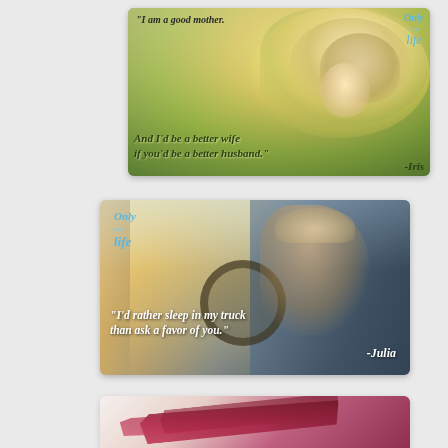[Figure (photo): Inspirational quote card with photo of mother and baby in sunlit field. Text: "I am a good mother. And I'd be a better wife if you'd be a better husband." -Iris. 'Only one life' logo visible top right.]
[Figure (photo): Inspirational quote card with photo of young woman in cowboy hat sitting in vintage truck cab. Text: "I'd rather sleep in my truck than ask a favor of you." -Julia. 'Only one life' logo top left.]
[Figure (photo): Partial view of a third inspirational quote card showing red brushstroke design at top, partially cropped at bottom of page.]